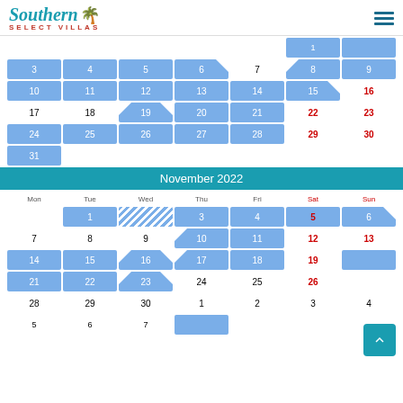[Figure (logo): Southern Select Villas logo with teal script text and green palm tree]
[Figure (other): Hamburger menu icon (three horizontal lines)]
Partial October 2022 calendar rows showing days 1-31 with blue booked cells
November 2022
| Mon | Tue | Wed | Thu | Fri | Sat | Sun |
| --- | --- | --- | --- | --- | --- | --- |
|  | 1 | 2(hatched) | 3 | 4 | 5 | 6 |
| 7 | 8 | 9 | 10 | 11 | 12 | 13 |
| 14 | 15 | 16 | 17 | 18 | 19 | 20 |
| 21 | 22 | 23 | 24 | 25 | 26 |  |
| 28 | 29 | 30 | 1 | 2 | 3 | 4 |
| 5 | 6 | 7 | 8 | 9 | 10 | 11 |